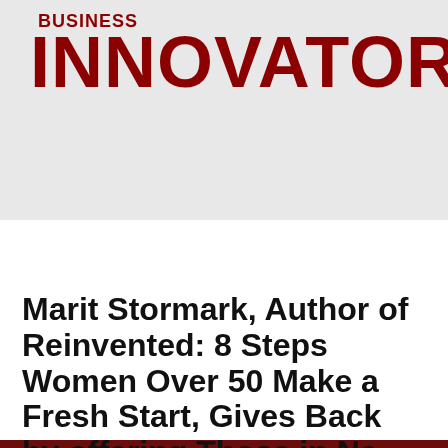BUSINESS INNOVATORS
[Figure (logo): Business Innovators magazine logo with 'BUSINESS' in smaller text above 'INNOVATORS' in large bold dark red text, on a light gray background]
Navigation menu bar (hamburger icon)
Marit Stormark, Author of Reinvented: 8 Steps Women Over 50 Make a Fresh Start, Gives Back by offering Those in Need